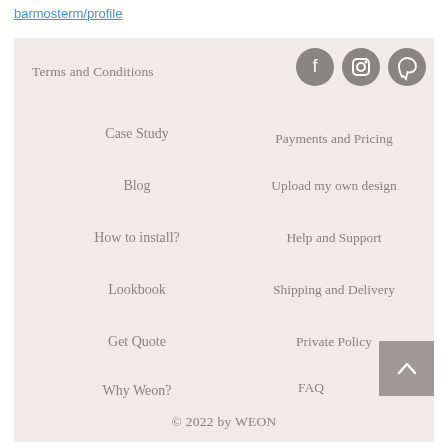barmosterm/profile
Terms and Conditions
Case Study
Blog
How to install?
Lookbook
Get Quote
Why Weon?
Payments and Pricing
Upload my own design
Help and Support
Shipping and Delivery
Private Policy
FAQ
© 2022 by WEON